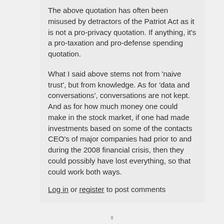The above quotation has often been misused by detractors of the Patriot Act as it is not a pro-privacy quotation. If anything, it's a pro-taxation and pro-defense spending quotation.
What I said above stems not from 'naive trust', but from knowledge. As for 'data and conversations', conversations are not kept. And as for how much money one could make in the stock market, if one had made investments based on some of the contacts CEO's of major companies had prior to and during the 2008 financial crisis, then they could possibly have lost everything, so that could work both ways.
Log in or register to post comments
x